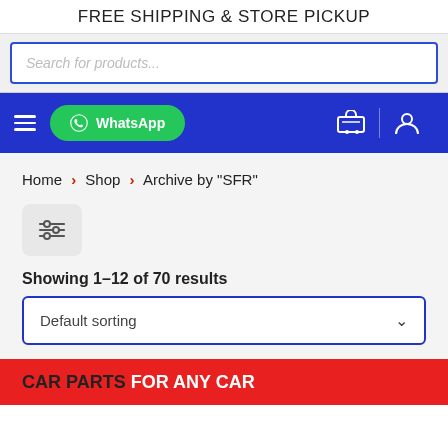FREE SHIPPING & STORE PICKUP
Search for products...
≡  WhatsApp  🛒  👤
Home > Shop > Archive by "SFR"
[Figure (other): Filter/sliders icon button]
Showing 1–12 of 70 results
Default sorting
CAR PARTS FOR ANY CAR